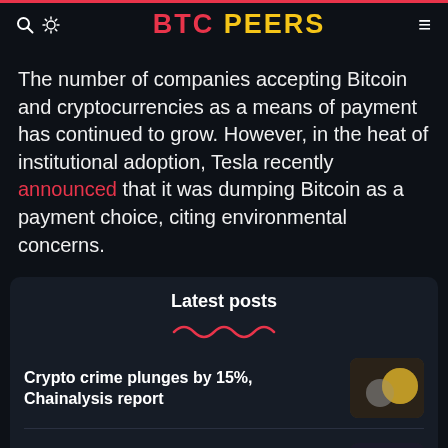BTC PEERS
The number of companies accepting Bitcoin and cryptocurrencies as a means of payment has continued to grow. However, in the heat of institutional adoption, Tesla recently announced that it was dumping Bitcoin as a payment choice, citing environmental concerns.
Latest posts
Crypto crime plunges by 15%, Chainalysis report
Wiztales launches India's first e-commerce and events metaverse